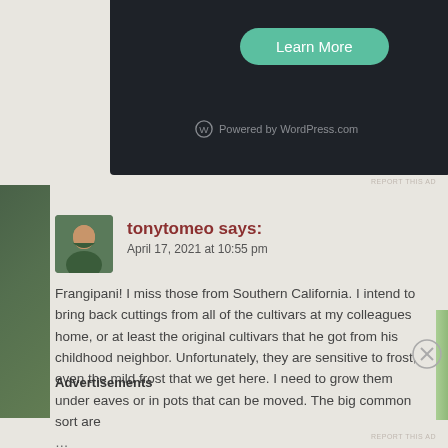[Figure (screenshot): Dark ad banner with Learn More button and Powered by WordPress.com text]
REPORT THIS AD
tonytomeo says:
April 17, 2021 at 10:55 pm

Frangipani! I miss those from Southern California. I intend to bring back cuttings from all of the cultivars at my colleagues home, or at least the original cultivars that he got from his childhood neighbor. Unfortunately, they are sensitive to frost, even the mild frost that we get here. I need to grow them under eaves or in pots that can be moved. The big common sort are
…
Advertisements
REPORT THIS AD